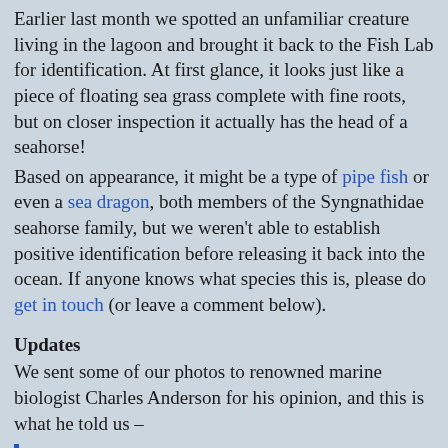Earlier last month we spotted an unfamiliar creature living in the lagoon and brought it back to the Fish Lab for identification. At first glance, it looks just like a piece of floating sea grass complete with fine roots, but on closer inspection it actually has the head of a seahorse!
Based on appearance, it might be a type of pipe fish or even a sea dragon, both members of the Syngnathidae seahorse family, but we weren't able to establish positive identification before releasing it back into the ocean. If anyone knows what species this is, please do get in touch (or leave a comment below).
Updates
We sent some of our photos to renowned marine biologist Charles Anderson for his opinion, and this is what he told us –
It is a juvenile pipefish … Almost certainly